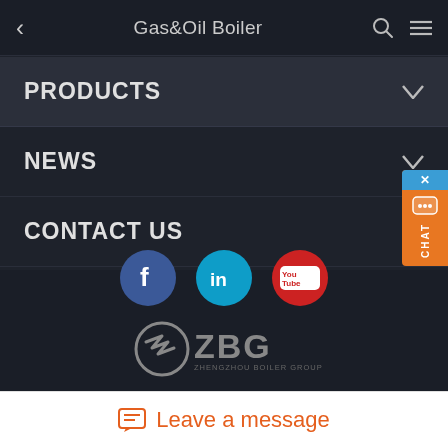Gas&Oil Boiler
PRODUCTS
NEWS
CONTACT US
[Figure (infographic): Social media icons: Facebook (blue circle with f), LinkedIn (cyan circle with in), YouTube (red circle with You Tube)]
[Figure (logo): ZBG Zhengzhou Boiler Group logo with stylized Z arrow icon and ZBG text]
Copyright © 1945-2021 by ZHENGZHOU BOILER(GROUP) CO.,LTD.
Leave a message